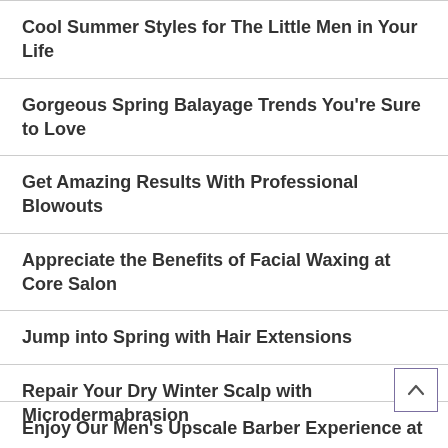Cool Summer Styles for The Little Men in Your Life
Gorgeous Spring Balayage Trends You're Sure to Love
Get Amazing Results With Professional Blowouts
Appreciate the Benefits of Facial Waxing at Core Salon
Jump into Spring with Hair Extensions
Repair Your Dry Winter Scalp with Microdermabrasion
Enjoy Our Men's Upscale Barber Experience at